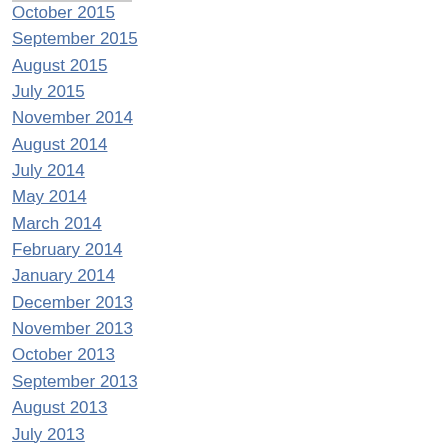October 2015
September 2015
August 2015
July 2015
November 2014
August 2014
July 2014
May 2014
March 2014
February 2014
January 2014
December 2013
November 2013
October 2013
September 2013
August 2013
July 2013
June 2013
May 2013